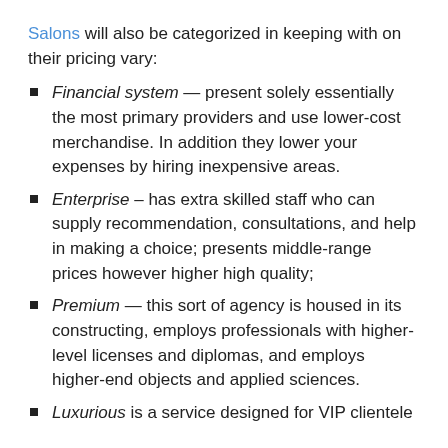Salons will also be categorized in keeping with on their pricing vary:
Financial system — present solely essentially the most primary providers and use lower-cost merchandise. In addition they lower your expenses by hiring inexpensive areas.
Enterprise – has extra skilled staff who can supply recommendation, consultations, and help in making a choice; presents middle-range prices however higher high quality;
Premium — this sort of agency is housed in its constructing, employs professionals with higher-level licenses and diplomas, and employs higher-end objects and applied sciences.
Luxurious is a service designed for VIP clientele